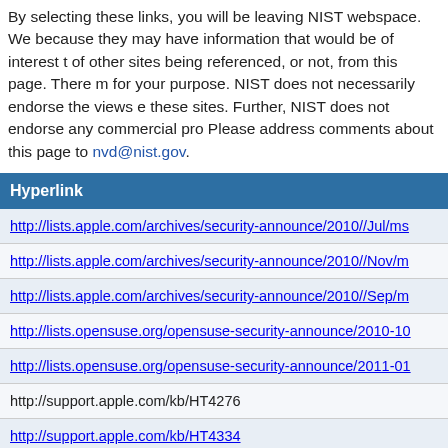By selecting these links, you will be leaving NIST webspace. We have provided these links because they may have information that would be of interest to you. There is no guarantee of other sites being referenced, or not, from this page. There may be other web sites that are more appropriate for your purpose. NIST does not necessarily endorse the views expressed, or concur with the facts presented on these sites. Further, NIST does not endorse any commercial products that may be mentioned on these sites. Please address comments about this page to nvd@nist.gov.
| Hyperlink |
| --- |
| http://lists.apple.com/archives/security-announce/2010//Jul/ms... |
| http://lists.apple.com/archives/security-announce/2010//Nov/m... |
| http://lists.apple.com/archives/security-announce/2010//Sep/m... |
| http://lists.opensuse.org/opensuse-security-announce/2010-10... |
| http://lists.opensuse.org/opensuse-security-announce/2011-01... |
| http://support.apple.com/kb/HT4276 |
| http://support.apple.com/kb/HT4334 |